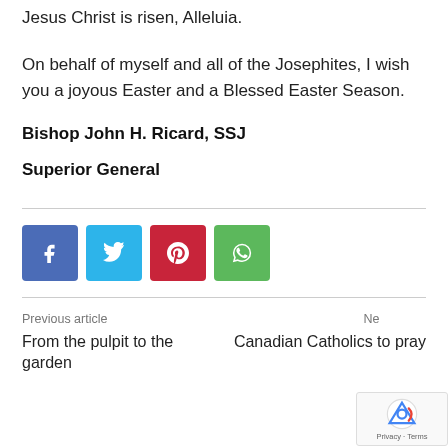Jesus Christ is risen, Alleluia.
On behalf of myself and all of the Josephites, I wish you a joyous Easter and a Blessed Easter Season.
Bishop John H. Ricard, SSJ
Superior General
[Figure (infographic): Four social sharing buttons: Facebook (blue), Twitter (light blue), Pinterest (red), WhatsApp (green)]
Previous article
From the pulpit to the garden
Next article
Canadian Catholics to pray